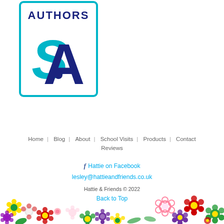[Figure (logo): Society of Authors logo with teal border, 'AUTHORS' text in navy, and SA monogram in navy and teal]
Home · Blog · About · School Visits · Products · Contact · Reviews
f Hattie on Facebook
lesley@hattieandfriends.co.uk
Hattie & Friends © 2022
Back to Top
[Figure (illustration): Decorative floral border with colorful flowers in red, yellow, green, purple, and pink across the bottom of the page]